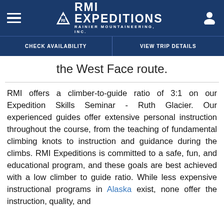RMI EXPEDITIONS — RAINIER MOUNTAINEERING, INC.
CHECK AVAILABILITY | VIEW TRIP DETAILS
the West Face route.
RMI offers a climber-to-guide ratio of 3:1 on our Expedition Skills Seminar - Ruth Glacier. Our experienced guides offer extensive personal instruction throughout the course, from the teaching of fundamental climbing knots to instruction and guidance during the climbs. RMI Expeditions is committed to a safe, fun, and educational program, and these goals are best achieved with a low climber to guide ratio. While less expensive instructional programs in Alaska exist, none offer the instruction, quality, and